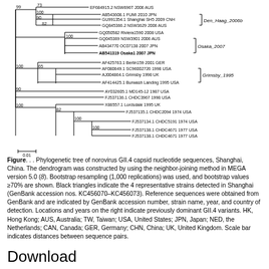[Figure (other): Phylogenetic tree (dendrogram) of norovirus GII.4 capsid nucleotide sequences showing branching relationships among strains from multiple countries. Clades labeled Den_Haag_2006b, Osaka_2007, and Grimsby_1995 are indicated with brackets. Bootstrap values shown at nodes. Scale bar of 0.01 shown at bottom left.]
Figure. . . Phylogenetic tree of norovirus GII.4 capsid nucleotide sequences, Shanghai, China. The dendrogram was constructed by using the neighbor-joining method in MEGA version 5.0 (8). Bootstrap resampling (1,000 replications) was used, and bootstrap values ≥70% are shown. Black triangles indicate the 4 representative strains detected in Shanghai (GenBank accession nos. KC456070–KC456073). Reference sequences were obtained from GenBank and are indicated by GenBank accession number, strain name, year, and country of detection. Locations and years on the right indicate previously dominant GII.4 variants. HK, Hong Kong; AUS, Australia; TW, Taiwan; USA, United States; JPN, Japan; NED, the Netherlands; CAN, Canada; GER, Germany; CHN, China; UK, United Kingdom. Scale bar indicates distances between sequence pairs.
Download